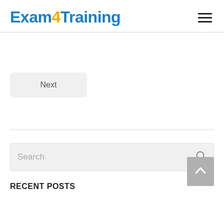Exam4Training
Next
Search
RECENT POSTS